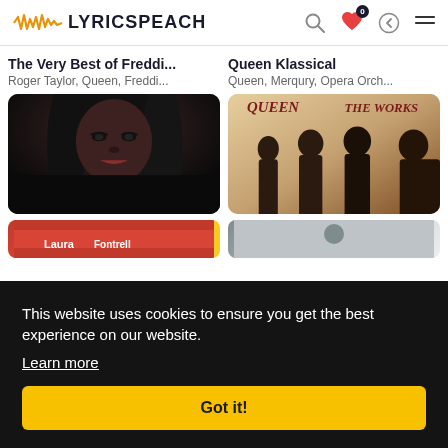LYRICSPEACH
The Very Best of Freddi...
Roger Taylor, Queen, Freddi...
Queen Klassical
Queen, Merqury, Opera Orch...
[Figure (photo): Album cover photo showing a woman with dark hair and dramatic eye makeup against a dark background (The Very Best of Freddie Mercury)]
[Figure (photo): Queen 'The Works' album cover showing four silhouetted figures with text QUEEN and THE WORKS in dark red italic font at top]
This website uses cookies to ensure you get the best experience on our website.
Learn more
Got it!